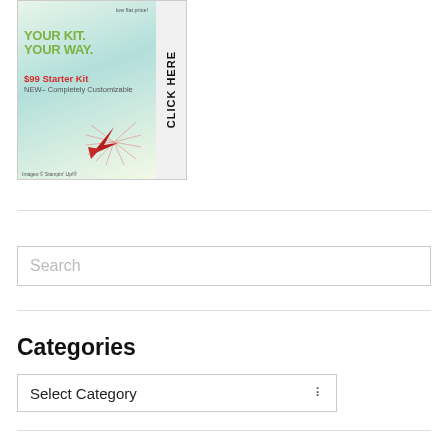[Figure (illustration): Stampin' Up $99 Starter Kit advertisement with YOUR KIT. YOUR WAY. text, craft supplies, and a red arrow with CLICK HERE vertical text on the right side.]
Images © Stampin' Up!®
Search
Categories
Select Category